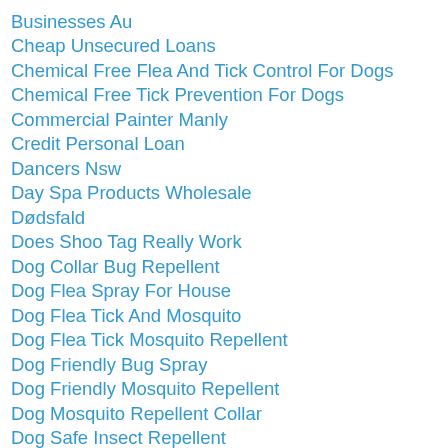Businesses Au
Cheap Unsecured Loans
Chemical Free Flea And Tick Control For Dogs
Chemical Free Tick Prevention For Dogs
Commercial Painter Manly
Credit Personal Loan
Dancers Nsw
Day Spa Products Wholesale
Dødsfald
Does Shoo Tag Really Work
Dog Collar Bug Repellent
Dog Flea Spray For House
Dog Flea Tick And Mosquito
Dog Flea Tick Mosquito Repellent
Dog Friendly Bug Spray
Dog Friendly Mosquito Repellent
Dog Mosquito Repellent Collar
Dog Safe Insect Repellent
Dog Safe Mosquito Repellent
Dog Shampoo Flea Control